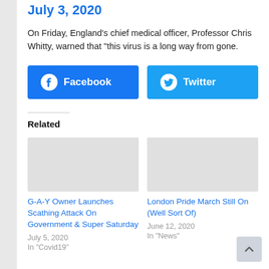July 3, 2020
On Friday, England's chief medical officer, Professor Chris Whitty, warned that "this virus is a long way from gone.
[Figure (other): Facebook and Twitter social share buttons]
Related
G-A-Y Owner Launches Scathing Attack On Government & Super Saturday
July 5, 2020
In "Covid19"
London Pride March Still On (Well Sort Of)
June 12, 2020
In "News"